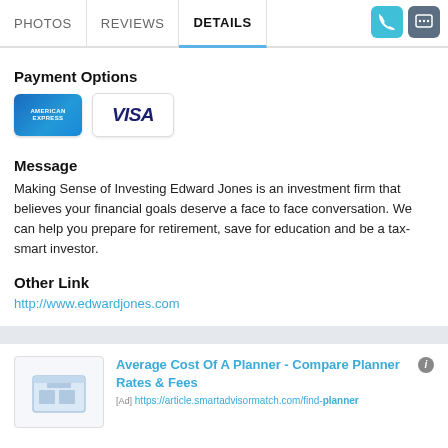PHOTOS  REVIEWS  DETAILS
Payment Options
[Figure (other): American Express and Visa credit card logos/icons]
Message
Making Sense of Investing Edward Jones is an investment firm that believes your financial goals deserve a face to face conversation. We can help you prepare for retirement, save for education and be a tax-smart investor.
Other Link
http://www.edwardjones.com
Average Cost Of A Planner - Compare Planner Rates & Fees
[Ad] https://article.smartadvisormatch.com/find-planner